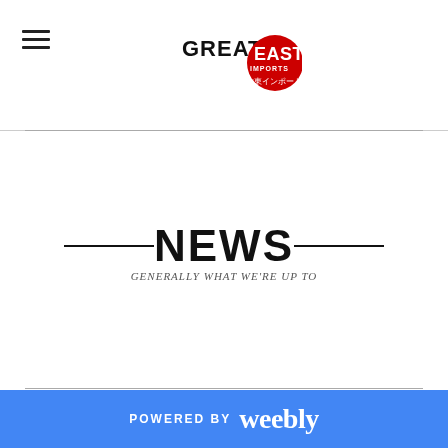Greater East Imports — site header with hamburger menu and logo
NEWS
GENERALLY WHAT WE'RE UP TO
POWERED BY weebly